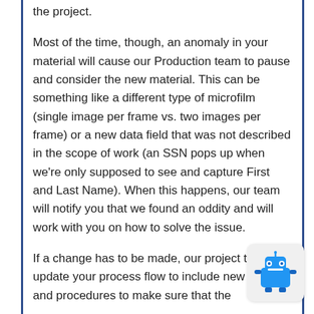the project.
Most of the time, though, an anomaly in your material will cause our Production team to pause and consider the new material. This can be something like a different type of microfilm (single image per frame vs. two images per frame) or a new data field that was not described in the scope of work (an SSN pops up when we're only supposed to see and capture First and Last Name). When this happens, our team will notify you that we found an oddity and will work with you on how to solve the issue.
If a change has to be made, our project team will update your process flow to include new steps and procedures to make sure that the